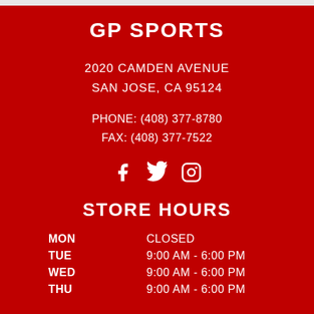GP SPORTS
2020 CAMDEN AVENUE
SAN JOSE, CA 95124
PHONE: (408) 377-8780
FAX: (408) 377-7522
[Figure (illustration): Social media icons: Facebook, Twitter, Instagram]
STORE HOURS
| DAY | HOURS |
| --- | --- |
| MON | CLOSED |
| TUE | 9:00 AM - 6:00 PM |
| WED | 9:00 AM - 6:00 PM |
| THU | 9:00 AM - 6:00 PM |